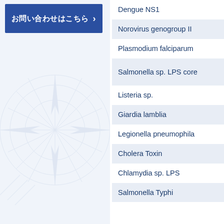[Figure (illustration): Blue button with Japanese text 'お問い合わせはこちら' and arrow, on a light blue panel with compass rose watermark]
Dengue NS1
Norovirus genogroup II
Plasmodium falciparum
Salmonella sp. LPS core
Listeria sp.
Giardia lamblia
Legionella pneumophila
Cholera Toxin
Chlamydia sp. LPS
Salmonella Typhi